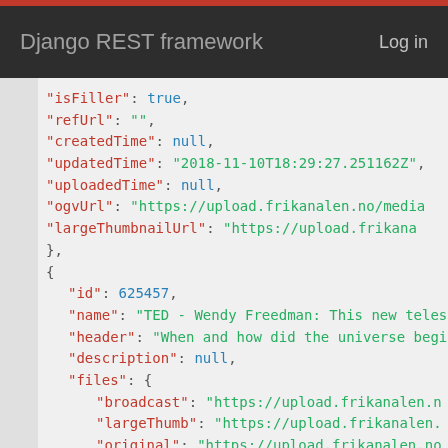Django REST framework   Log in
JSON code snippet showing API response data including fields: isFiller, refUrl, createdTime, updatedTime, uploadedTime, ogvUrl, largeThumbnailUrl, id: 625457, name, header, description, files (broadcast, largeThumb, original, smallThumb), creator, organization